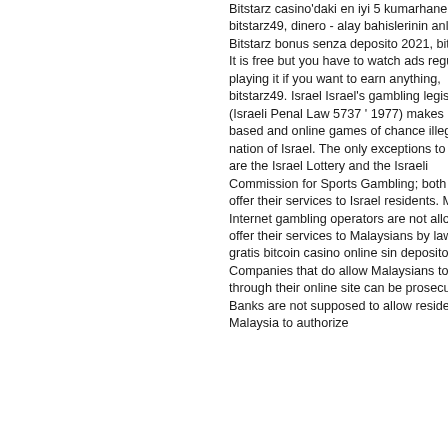Bitstarz casino'daki en iyi 5 kumarhane oyunu bitstarz49, dinero - alay bahislerinin anlamı. Bitstarz bonus senza deposito 2021, bitstarz 49 It is free but you have to watch ads regularly playing it if you want to earn anything, bitstarz49. Israel Israel's gambling legislation (Israeli Penal Law 5737 ' 1977) makes land-based and online games of chance illegal in the nation of Israel. The only exceptions to this law are the Israel Lottery and the Israeli Commission for Sports Gambling; both freely offer their services to Israel residents. Malaysia Internet gambling operators are not allowed to offer their services to Malaysians by law, dinero gratis bitcoin casino online sin deposito. Companies that do allow Malaysians to gamble through their online site can be prosecuted. Banks are not supposed to allow residents of Malaysia to authorize